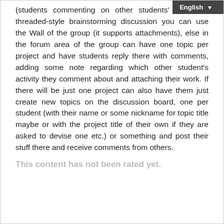(students commenting on other students' work) for threaded-style brainstorming discussion you can use the Wall of the group (it supports attachments), else in the forum area of the group can have one topic per project and have students reply there with comments, adding some note regarding which other student's activity they comment about and attaching their work. If there will be just one project can also have them just create new topics on the discussion board, one per student (with their name or some nickname for topic title maybe or with the project title of their own if they are asked to devise one etc.) or something and post their stuff there and receive comments from others.
This content has not been rated yet.